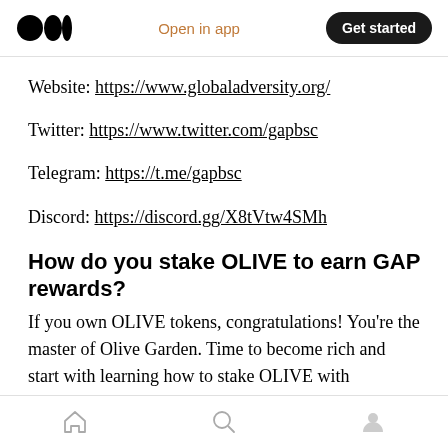Medium logo | Open in app | Get started
Website: https://www.globaladversity.org/
Twitter: https://www.twitter.com/gapbsc
Telegram: https://t.me/gapbsc
Discord: https://discord.gg/X8tVtw4SMh
How do you stake OLIVE to earn GAP rewards?
If you own OLIVE tokens, congratulations! You're the master of Olive Garden. Time to become rich and start with learning how to stake OLIVE with
Home | Search | Profile